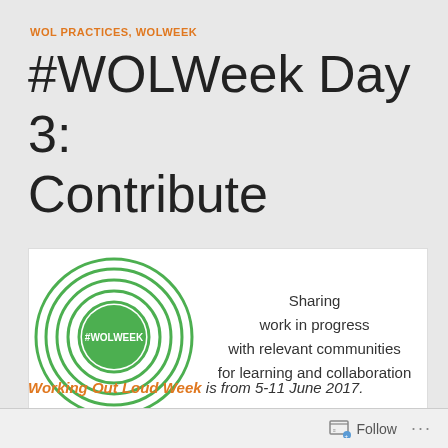WOL PRACTICES, WOLWEEK
#WOLWeek Day 3: Contribute
[Figure (illustration): A circular target/bullseye graphic with concentric green rings on a white background. The center circle is solid green with '#WOLWEEK' text in white. To the right, text reads: 'Sharing work in progress with relevant communities for learning and collaboration']
Working Out Loud Week is from 5-11 June 2017.